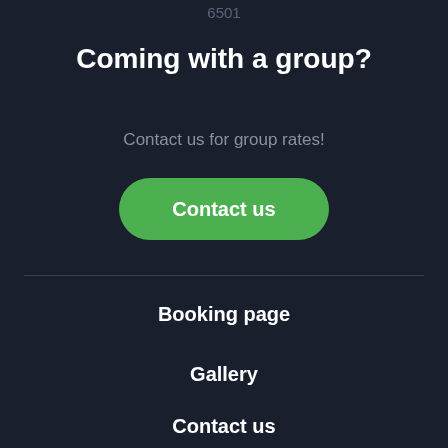6501
Coming with a group?
Contact us for group rates!
[Figure (other): Green rounded button labeled 'Contact us']
Booking page
Gallery
Contact us